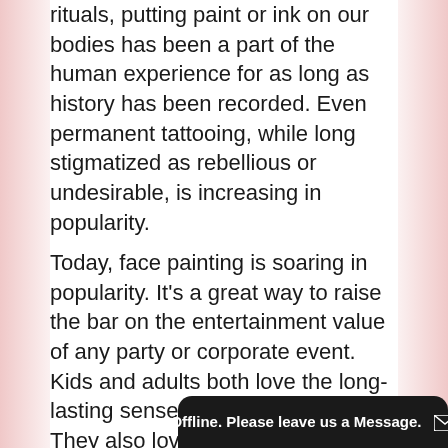rituals, putting paint or ink on our bodies has been a part of the human experience for as long as history has been recorded. Even permanent tattooing, while long stigmatized as rebellious or undesirable, is increasing in popularity.
Today, face painting is soaring in popularity. It's a great way to raise the bar on the entertainment value of any party or corporate event. Kids and adults both love the long-lasting sense of fantasy it creates. They also love that it's non-toxic and easy to remove. So what is there to know about face painting?
Offline. Please leave us a Message.